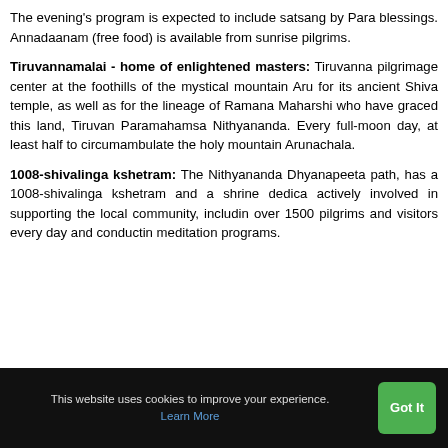The evening's program is expected to include satsang by Para blessings. Annadaanam (free food) is available from sunrise pilgrims.
Tiruvannamalai - home of enlightened masters: Tiruvanna pilgrimage center at the foothills of the mystical mountain Aru for its ancient Shiva temple, as well as for the lineage of Ramana Maharshi who have graced this land, Tiruvan Paramahamsa Nithyananda. Every full-moon day, at least half to circumambulate the holy mountain Arunachala.
1008-shivalinga kshetram: The Nithyananda Dhyanapeeta path, has a 1008-shivalinga kshetram and a shrine dedica actively involved in supporting the local community, includin over 1500 pilgrims and visitors every day and conductin meditation programs.
This website uses cookies to improve your experience. Learn More | Got It